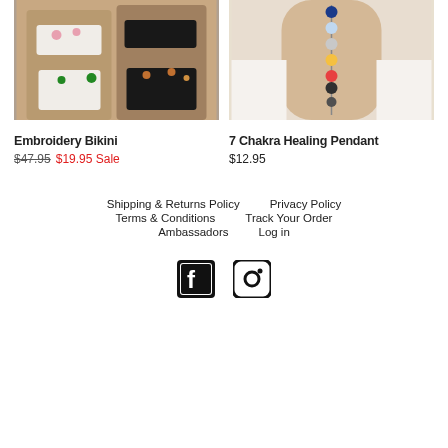[Figure (photo): Two women wearing embroidery bikinis at a beach]
[Figure (photo): 7 Chakra Healing Pendant worn on back of a person in white shirt]
Embroidery Bikini
$47.95 $19.95 Sale
7 Chakra Healing Pendant
$12.95
Shipping & Returns Policy  Privacy Policy  Terms & Conditions  Track Your Order  Ambassadors  Log in
[Figure (logo): Facebook and Instagram social media icons]